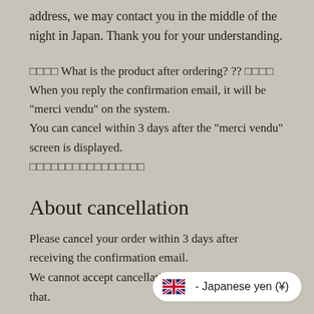address, we may contact you in the middle of the night in Japan. Thank you for your understanding.
□□□□ What is the product after ordering? ?? □□□□
When you reply the confirmation email, it will be "merci vendu" on the system.
You can cancel within 3 days after the "merci vendu" screen is displayed.
□□□□□□□□□□□□□□□□
About cancellation
Please cancel your order within 3 days after receiving the confirmation email.
We cannot accept cancellations after payment. note that.
[Figure (infographic): UK flag emoji followed by text: - Japanese yen (¥), displayed in a white rounded badge in the bottom-right corner]